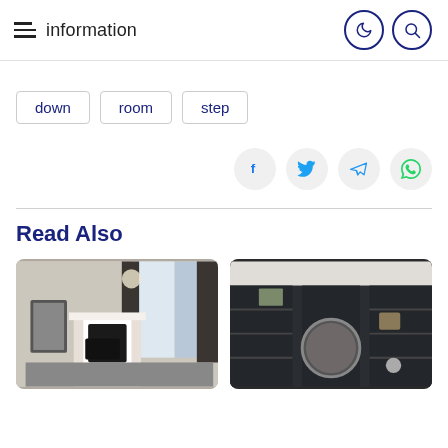information
down
room
step
[Figure (infographic): Social sharing icons: Facebook, Twitter, Telegram, WhatsApp]
Read Also
[Figure (photo): Interior room photo showing a living room with fireplace, chandelier, and dark curtains]
[Figure (photo): Interior photo showing dark built-in bookshelves with a round mirror and decorative items]